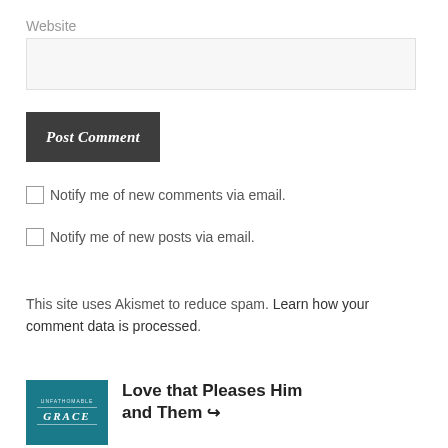Website
Post Comment
Notify me of new comments via email.
Notify me of new posts via email.
This site uses Akismet to reduce spam. Learn how your comment data is processed.
Love that Pleases Him and Them ↩